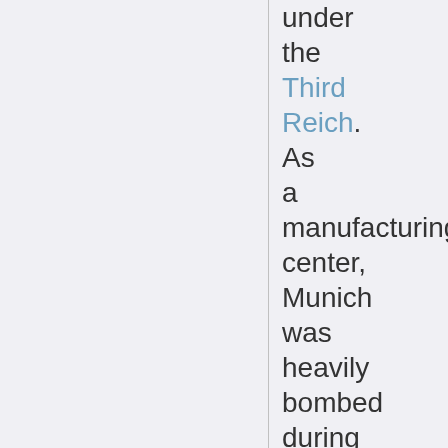under the Third Reich. As a manufacturing center, Munich was heavily bombed during World War